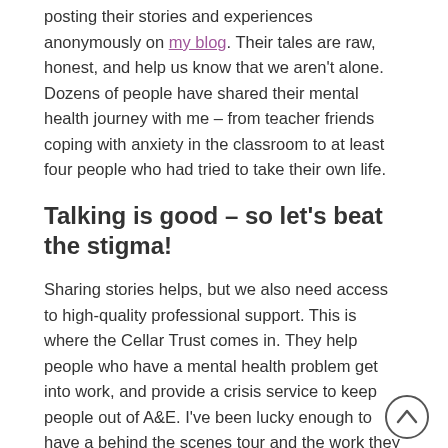posting their stories and experiences anonymously on my blog. Their tales are raw, honest, and help us know that we aren't alone. Dozens of people have shared their mental health journey with me – from teacher friends coping with anxiety in the classroom to at least four people who had tried to take their own life.
Talking is good – so let's beat the stigma!
Sharing stories helps, but we also need access to high-quality professional support. This is where the Cellar Trust comes in. They help people who have a mental health problem get into work, and provide a crisis service to keep people out of A&E. I've been lucky enough to have a behind the scenes tour and the work they do is just incredible. So, I decided to do a little something to help; and that little something was shaving off my ferocious ginger beard, and potentially